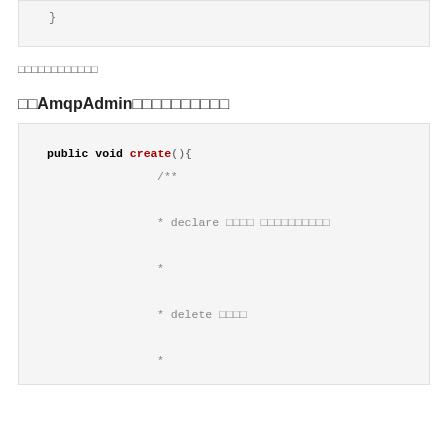[Figure (screenshot): Code block showing closing brace of a method]
□□□□□□□□□□□□
□□AmqpAdmin□□□□□□□□□□
[Figure (screenshot): Code block showing public void create() method with Javadoc comment: declare □□□□ □□□□□□□□□□, delete □□□□]